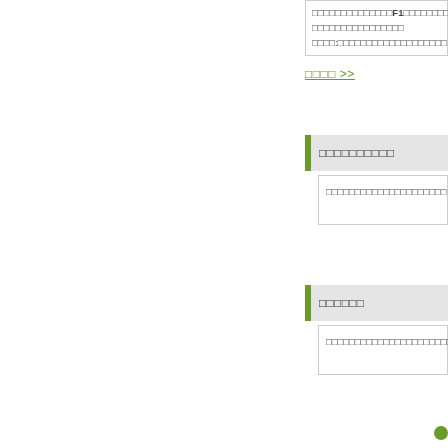□□□□□□□□□□□□□□F1□□□□□□□□□□□□□□□□□□□□□□□□□□□□□□□□□□□:□□□□□□□□□□□□□□□□□□□
□□□□ >>
□□□□□□□□□□
□□□□□□□□□□□□□□□□□□□□□
□□□□□□
□□□□□□□□□□□□□□□□□□□□□□□□□□□□□□□□□□□□□□□□□□□